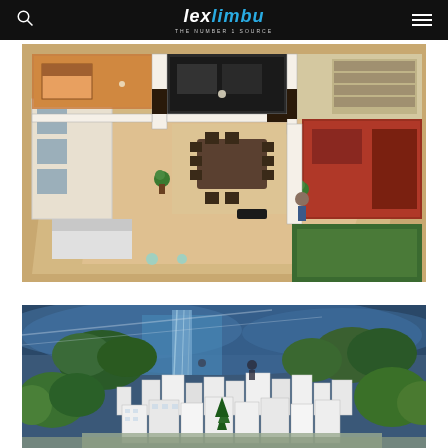lexlimbu THE NUMBER 1 SOURCE
[Figure (photo): Overhead view of a detailed architectural scale model of an apartment floor plan showing multiple rooms including living area, dining area, bedroom with red floor, kitchen, and other spaces with miniature furniture and decor]
[Figure (photo): Aerial view of a detailed architectural scale model of a city/urban development showing miniature white buildings, green landscaping, and a waterfall or water feature element in the background]